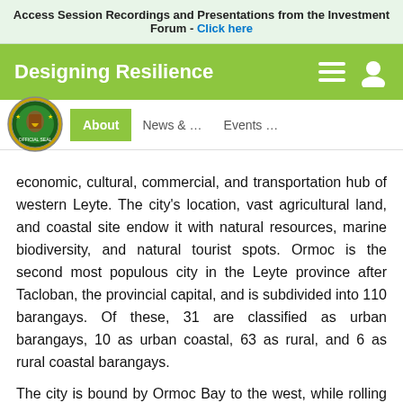Access Session Recordings and Presentations from the Investment Forum - Click here
Designing Resilience
[Figure (logo): Official Seal circular logo with text OFFICIAL SEAL]
About   News & ...   Events ...
economic, cultural, commercial, and transportation hub of western Leyte. The city's location, vast agricultural land, and coastal site endow it with natural resources, marine biodiversity, and natural tourist spots. Ormoc is the second most populous city in the Leyte province after Tacloban, the provincial capital, and is subdivided into 110 barangays. Of these, 31 are classified as urban barangays, 10 as urban coastal, 63 as rural, and 6 as rural coastal barangays.
The city is bound by Ormoc Bay to the west, while rolling valley plains run from the north to the south, with numerous rivers and streams traversing the plains. Both its location and climate attract fruit and crop growers and...